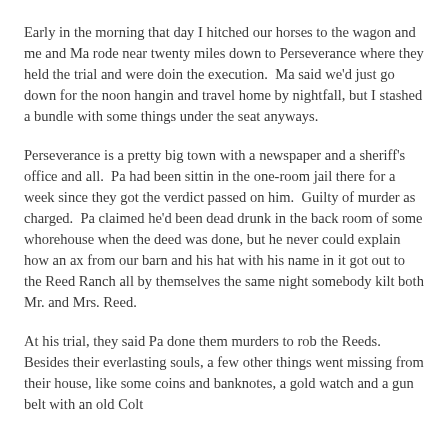Early in the morning that day I hitched our horses to the wagon and me and Ma rode near twenty miles down to Perseverance where they held the trial and were doin the execution.  Ma said we'd just go down for the noon hangin and travel home by nightfall, but I stashed a bundle with some things under the seat anyways.
Perseverance is a pretty big town with a newspaper and a sheriff's office and all.  Pa had been sittin in the one-room jail there for a week since they got the verdict passed on him.  Guilty of murder as charged.  Pa claimed he'd been dead drunk in the back room of some whorehouse when the deed was done, but he never could explain how an ax from our barn and his hat with his name in it got out to the Reed Ranch all by themselves the same night somebody kilt both Mr. and Mrs. Reed.
At his trial, they said Pa done them murders to rob the Reeds.  Besides their everlasting souls, a few other things went missing from their house, like some coins and banknotes, a gold watch and a gun belt with an old Colt